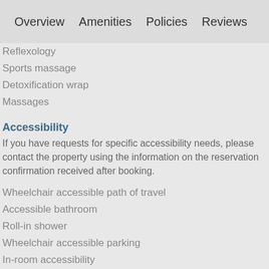Overview   Amenities   Policies   Reviews
Reflexology
Sports massage
Detoxification wrap
Massages
Accessibility
If you have requests for specific accessibility needs, please contact the property using the information on the reservation confirmation received after booking.
Wheelchair accessible path of travel
Accessible bathroom
Roll-in shower
Wheelchair accessible parking
In-room accessibility
Assistive listening devices available
Braille or raised signage